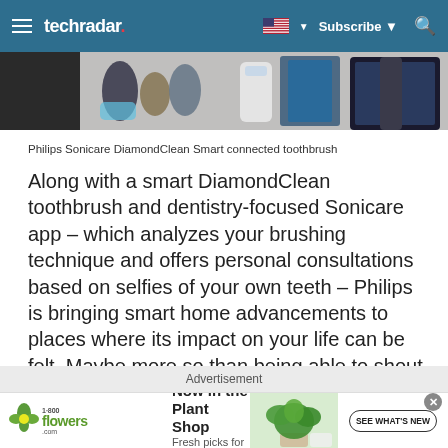techradar  Subscribe
[Figure (photo): Philips Sonicare DiamondClean Smart connected toothbrush product lineup photo]
Philips Sonicare DiamondClean Smart connected toothbrush
Along with a smart DiamondClean toothbrush and dentistry-focused Sonicare app – which analyzes your brushing technique and offers personal consultations based on selfies of your own teeth – Philips is bringing smart home advancements to places where its impact on your life can be felt. Maybe more so than being able to shout at your loudspeaker to change songs.
Advertisement
[Figure (photo): 1-800-Flowers.com advertisement banner: Now in the Plant Shop, Fresh picks for summer, with plant image and SEE WHAT'S NEW button]